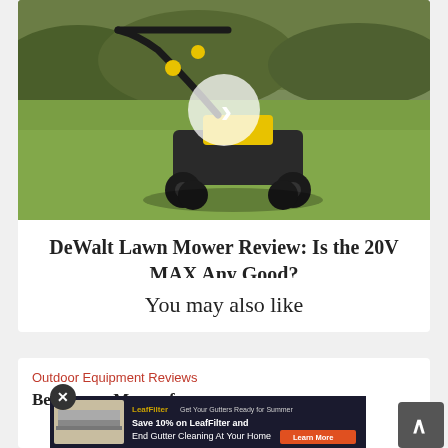[Figure (photo): A DeWalt electric lawn mower on a grass lawn with shrubs in the background. A circular white play button overlay is centered on the image indicating a video.]
DeWalt Lawn Mower Review: Is the 20V MAX Any Good?
You may also like
Outdoor Equipment Reviews
Best Lawn Mower for
[Figure (photo): Advertisement banner: LeafFilter - Save 10% on LeafFilter and End Gutter Cleaning At Your Home. A close button (X) is shown at top left of the ad.]